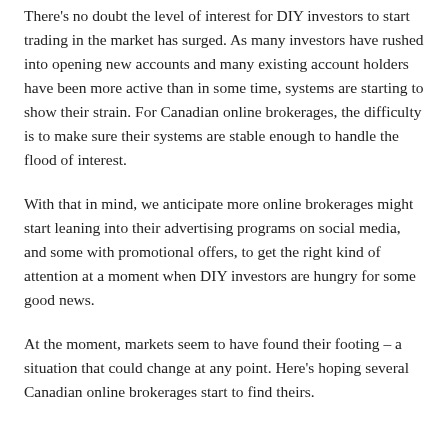There's no doubt the level of interest for DIY investors to start trading in the market has surged. As many investors have rushed into opening new accounts and many existing account holders have been more active than in some time, systems are starting to show their strain. For Canadian online brokerages, the difficulty is to make sure their systems are stable enough to handle the flood of interest.
With that in mind, we anticipate more online brokerages might start leaning into their advertising programs on social media, and some with promotional offers, to get the right kind of attention at a moment when DIY investors are hungry for some good news.
At the moment, markets seem to have found their footing – a situation that could change at any point. Here's hoping several Canadian online brokerages start to find theirs.